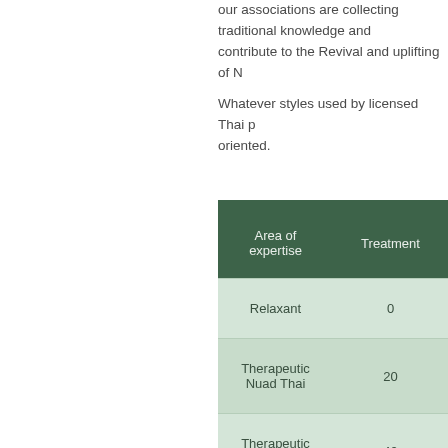our associations are collecting traditional knowledge and contribute to the Revival and uplifting of N
Whatever styles used by licensed Thai p oriented.
| Area of expertise | Treatment |
| --- | --- |
| Relaxant | 0 |
| Therapeutic Nuad Thai | 20 |
| Therapeutic Nuad Thai | 40 |